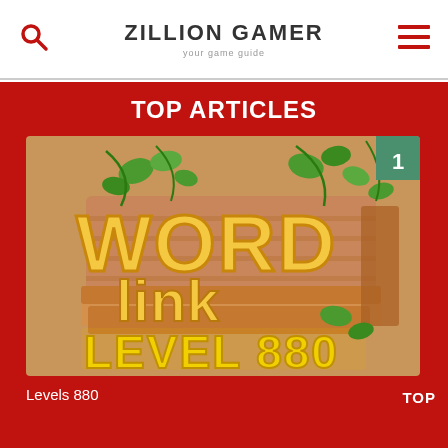ZILLION GAMER — your game guide
TOP ARTICLES
[Figure (screenshot): Word Link Level 880 game logo image with wooden sign, yellow block letters spelling WORD link LEVEL 880, green vines, teal badge with number 1 in top right corner]
Levels 880